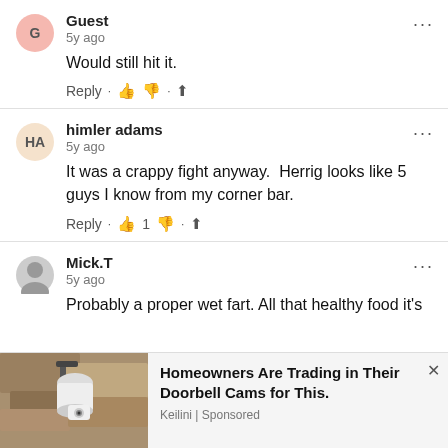Guest · 5y ago · Would still hit it. · Reply · 👍 👎 · share
himler adams · 5y ago · It was a crappy fight anyway. Herrig looks like 5 guys I know from my corner bar. · Reply · 👍 1 👎 · share
Mick.T · 5y ago · Probably a proper wet fart. All that healthy food it's
[Figure (photo): Advertisement banner: outdoor security camera on a wall. Text: Homeowners Are Trading in Their Doorbell Cams for This. Keilini | Sponsored]